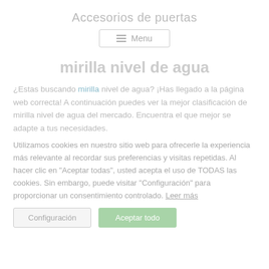Accesorios de puertas
[Figure (other): Navigation menu button with hamburger icon and 'Menu' label]
mirilla nivel de agua
¿Estas buscando mirilla nivel de agua? ¡Has llegado a la página web correcta! A continuación puedes ver la mejor clasificación de mirilla nivel de agua del mercado. Encuentra el que mejor se adapte a tus necesidades.
Utilizamos cookies en nuestro sitio web para ofrecerle la experiencia más relevante al recordar sus preferencias y visitas repetidas. Al hacer clic en "Aceptar todas", usted acepta el uso de TODAS las cookies. Sin embargo, puede visitar "Configuración" para proporcionar un consentimiento controlado. Leer más
Configuración | Aceptar todo